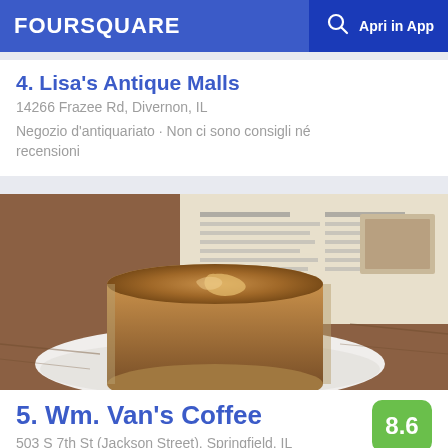FOURSQUARE  Apri in App
4. Lisa's Antique Malls
14266 Frazee Rd, Divernon, IL
Negozio d'antiquariato · Non ci sono consigli né recensioni
[Figure (photo): A cup of espresso coffee in a glass cup on a white saucer, with a newspaper in the background, on a wooden table]
5. Wm. Van's Coffee
503 S 7th St (Jackson Street), Springfield, IL
Coffee-shop · 22 consigli e recensioni